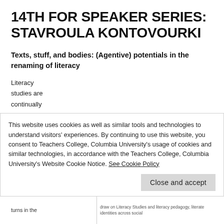14TH FOR SPEAKER SERIES: STAVROULA KONTOVOURKI
Texts, stuff, and bodies: (Agentive) potentials in the renaming of literacy
Literacy studies are continually
[Figure (illustration): Book cover with geometric triangular shapes in navy blue and dark blue, text reading 'TEXTS, STUFF, AND' in yellow/gold on dark background]
This website uses cookies as well as similar tools and technologies to understand visitors' experiences. By continuing to use this website, you consent to Teachers College, Columbia University's usage of cookies and similar technologies, in accordance with the Teachers College, Columbia University's Website Cookie Notice. See Cookie Policy
turns in the
draw on Literacy Studies and literacy pedagogy, literate identities across social